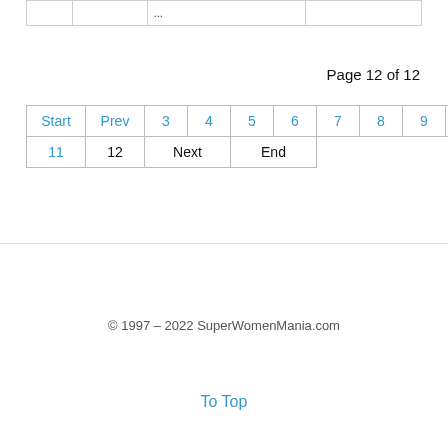|  |  | ... |  |
Page 12 of 12
Start Prev 3 4 5 6 7 8 9 10 11 12 Next End
© 1997 – 2022 SuperWomenMania.com
To Top